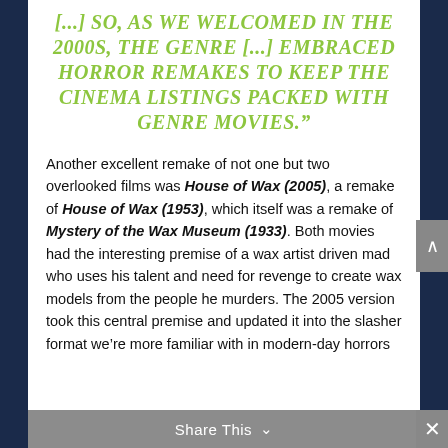[...] SO, AS WE WELCOMED IN THE 2000S, THE GENRE [...] EMBRACED HORROR REMAKES TO KEEP THE CINEMA LISTINGS PACKED WITH GENRE MOVIES.”
Another excellent remake of not one but two overlooked films was House of Wax (2005), a remake of House of Wax (1953), which itself was a remake of Mystery of the Wax Museum (1933). Both movies had the interesting premise of a wax artist driven mad who uses his talent and need for revenge to create wax models from the people he murders. The 2005 version took this central premise and updated it into the slasher format we're more familiar with in modern-day horrors